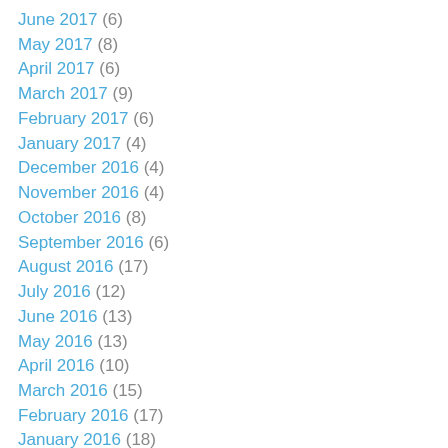June 2017 (6)
May 2017 (8)
April 2017 (6)
March 2017 (9)
February 2017 (6)
January 2017 (4)
December 2016 (4)
November 2016 (4)
October 2016 (8)
September 2016 (6)
August 2016 (17)
July 2016 (12)
June 2016 (13)
May 2016 (13)
April 2016 (10)
March 2016 (15)
February 2016 (17)
January 2016 (18)
December 2015 (13)
November 2015 (18)